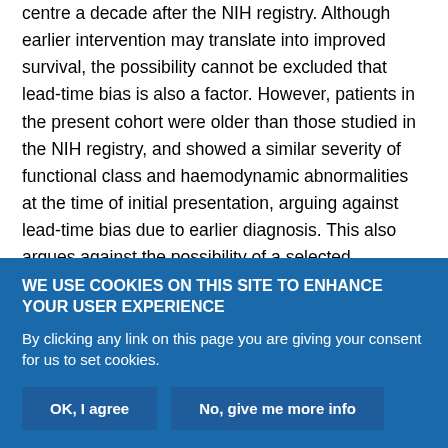centre a decade after the NIH registry. Although earlier intervention may translate into improved survival, the possibility cannot be excluded that lead-time bias is also a factor. However, patients in the present cohort were older than those studied in the NIH registry, and showed a similar severity of functional class and haemodynamic abnormalities at the time of initial presentation, arguing against lead-time bias due to earlier diagnosis. This also argues against the possibility of a selected population of less severely diseased patients surviving, a cohort effect as an explanation for the improved survival.

The present analyses included patients with a positive vasodilatory
WE USE COOKIES ON THIS SITE TO ENHANCE YOUR USER EXPERIENCE

By clicking any link on this page you are giving your consent for us to set cookies.

OK, I agree   No, give me more info